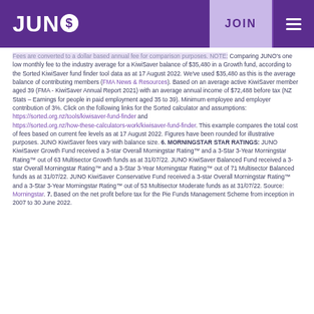JUNO | JOIN
Fees are converted to a dollar based annual fee for comparison purposes. NOTE: Comparing JUNO's one low monthly fee to the industry average for a KiwiSaver balance of $35,480 in a Growth fund, according to the Sorted KiwiSaver fund finder tool data as at 17 August 2022. We've used $35,480 as this is the average balance of contributing members (FMA News & Resources). Based on an average active KiwiSaver member aged 39 (FMA - KiwiSaver Annual Report 2021) with an average annual income of $72,488 before tax (NZ Stats – Earnings for people in paid employment aged 35 to 39). Minimum employee and employer contribution of 3%. Click on the following links for the Sorted calculator and assumptions: https://sorted.org.nz/tools/kiwisaver-fund-finder and https://sorted.org.nz/how-these-calculators-work/kiwisaver-fund-finder. This example compares the total cost of fees based on current fee levels as at 17 August 2022. Figures have been rounded for illustrative purposes. JUNO KiwiSaver fees vary with balance size. 6. MORNINGSTAR STAR RATINGS: JUNO KiwiSaver Growth Fund received a 3-star Overall Morningstar Rating™ and a 3-Star 3-Year Morningstar Rating™ out of 63 Multisector Growth funds as at 31/07/22. JUNO KiwiSaver Balanced Fund received a 3-star Overall Morningstar Rating™ and a 3-Star 3-Year Morningstar Rating™ out of 71 Multisector Balanced funds as at 31/07/22. JUNO KiwiSaver Conservative Fund received a 3-star Overall Morningstar Rating™ and a 3-Star 3-Year Morningstar Rating™ out of 53 Multisector Moderate funds as at 31/07/22. Source: Morningstar. 7. Based on the net profit before tax for the Pie Funds Management Scheme from inception in 2007 to 30 June 2022.